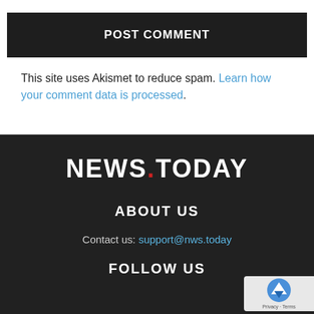POST COMMENT
This site uses Akismet to reduce spam. Learn how your comment data is processed.
[Figure (logo): NEWS.TODAY logo in white bold text with a red dot between NEWS and TODAY on dark background]
ABOUT US
Contact us: support@nws.today
FOLLOW US